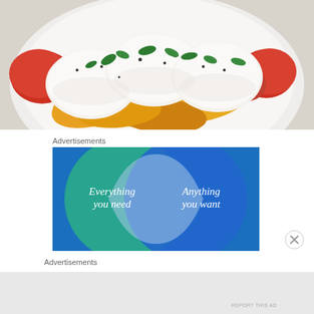[Figure (photo): A plate with mozzarella cheese slices on top of yellow roasted peppers and red tomatoes, garnished with fresh basil and black pepper, served on a white plate.]
Advertisements
[Figure (infographic): Advertisement banner with a blue background showing two overlapping circles (Venn diagram style). Left circle is teal/green with text 'Everything you need'. Right circle is bright blue with text 'Anything you want'. The overlapping area is a lighter blue-white color.]
Advertisements